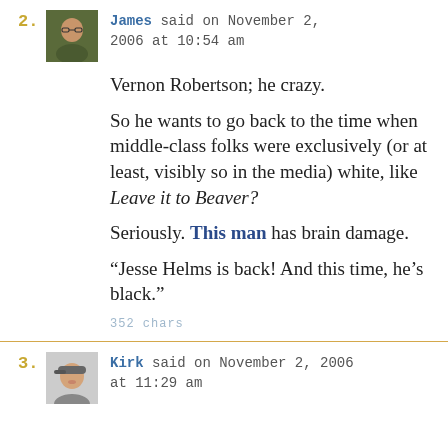2. James said on November 2, 2006 at 10:54 am
Vernon Robertson; he crazy.
So he wants to go back to the time when middle-class folks were exclusively (or at least, visibly so in the media) white, like Leave it to Beaver?
Seriously. This man has brain damage.
“Jesse Helms is back! And this time, he’s black.”
352 chars
3. Kirk said on November 2, 2006 at 11:29 am